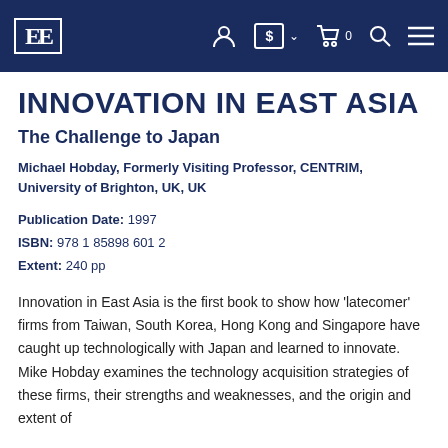EE [logo/navigation bar]
INNOVATION IN EAST ASIA
The Challenge to Japan
Michael Hobday, Formerly Visiting Professor, CENTRIM, University of Brighton, UK, UK
Publication Date: 1997
ISBN: 978 1 85898 601 2
Extent: 240 pp
Innovation in East Asia is the first book to show how 'latecomer' firms from Taiwan, South Korea, Hong Kong and Singapore have caught up technologically with Japan and learned to innovate. Mike Hobday examines the technology acquisition strategies of these firms, their strengths and weaknesses, and the origin and extent of